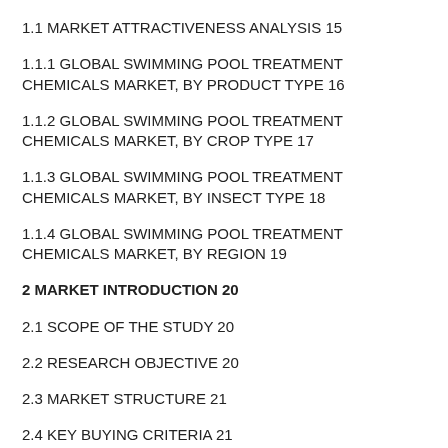1.1 MARKET ATTRACTIVENESS ANALYSIS 15
1.1.1 GLOBAL SWIMMING POOL TREATMENT CHEMICALS MARKET, BY PRODUCT TYPE 16
1.1.2 GLOBAL SWIMMING POOL TREATMENT CHEMICALS MARKET, BY CROP TYPE 17
1.1.3 GLOBAL SWIMMING POOL TREATMENT CHEMICALS MARKET, BY INSECT TYPE 18
1.1.4 GLOBAL SWIMMING POOL TREATMENT CHEMICALS MARKET, BY REGION 19
2 MARKET INTRODUCTION 20
2.1 SCOPE OF THE STUDY 20
2.2 RESEARCH OBJECTIVE 20
2.3 MARKET STRUCTURE 21
2.4 KEY BUYING CRITERIA 21
3 RESEARCH METHODOLOGY 22